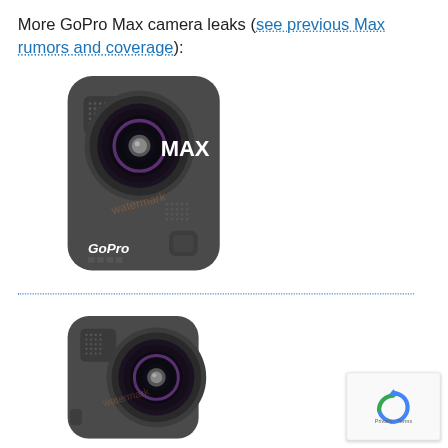More GoPro Max camera leaks (see previous Max rumors and coverage):
[Figure (photo): GoPro Max 360 action camera showing front face with wide-angle lens, speaker grille, GoPro logo, and MAX branding on dark gray body.]
[Figure (photo): GoPro Max 360 action camera partial side/front view showing wide-angle lens and body detail with watermark.]
[Figure (logo): Google reCAPTCHA badge with Privacy and Terms links.]